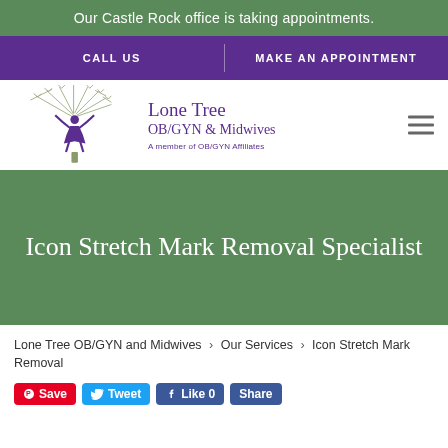Our Castle Rock office is taking appointments.
CALL US | MAKE AN APPOINTMENT
[Figure (logo): Lone Tree OB/GYN & Midwives logo with stylized tree and figure, A member of OB/GYN Affiliates]
Icon Stretch Mark Removal Specialist
Lone Tree OB/GYN and Midwives > Our Services > Icon Stretch Mark Removal
Save  Tweet  Like 0  Share